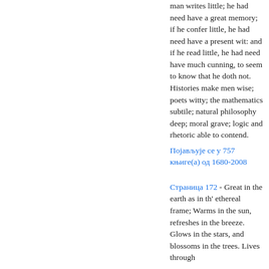man writes little; he had need have a great memory; if he confer little, he had need have a present wit: and if he read little, he had need have much cunning, to seem to know that he doth not. Histories make men wise; poets witty; the mathematics subtile; natural philosophy deep; moral grave; logic and rhetoric able to contend.
Појављује се у 757 књиге(а) од 1680-2008
Страница 172 - Great in the earth as in th' ethereal frame; Warms in the sun, refreshes in the breeze. Glows in the stars, and blossoms in the trees. Lives through